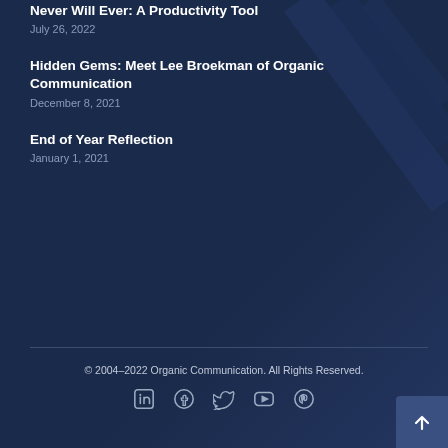Never Will Ever: A Productivity Tool
July 26, 2022
Hidden Gems: Meet Lee Broekman of Organic Communication
December 8, 2021
End of Year Reflection
January 1, 2021
© 2004–2022 Organic Communication. All Rights Reserved.